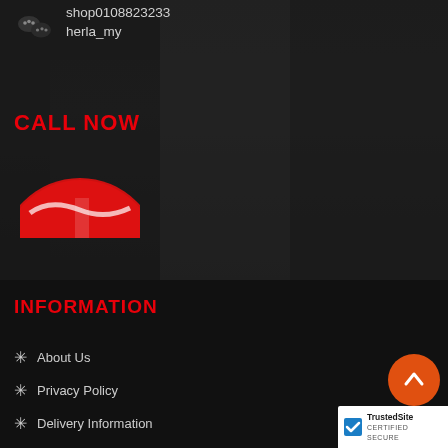shop0108823233
herla_my
CALL NOW
[Figure (logo): Red circular logo partially visible at bottom, resembling Coca-Cola branding]
INFORMATION
About Us
Privacy Policy
Delivery Information
[Figure (other): Orange circular scroll-to-top button with upward chevron arrow]
[Figure (logo): TrustedSite CERTIFIED SECURE badge in white box]